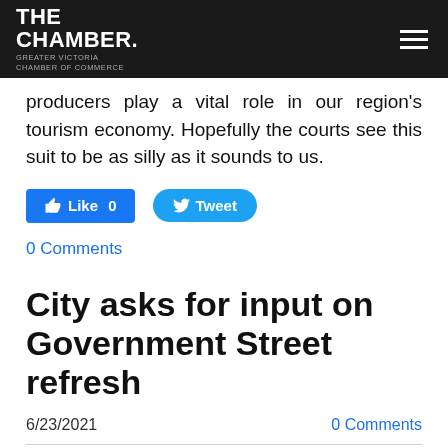THE CHAMBER. GREATER VICTORIA CHAMBER OF COMMERCE
producers play a vital role in our region's tourism economy. Hopefully the courts see this suit to be as silly as it sounds to us.
[Figure (other): Social media buttons: Like 0 (Facebook) and Tweet (Twitter)]
0 Comments
City asks for input on Government Street refresh
6/23/2021
0 Comments
What will the future hold for one of Greater Victoria's most iconic streetscapes? The City of Victoria is inviting the public to help shape